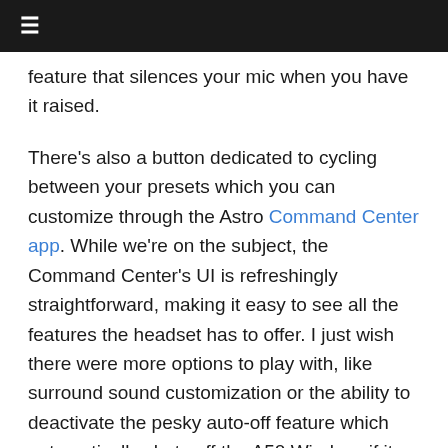≡
feature that silences your mic when you have it raised.
There's also a button dedicated to cycling between your presets which you can customize through the Astro Command Center app. While we're on the subject, the Command Center's UI is refreshingly straightforward, making it easy to see all the features the headset has to offer. I just wish there were more options to play with, like surround sound customization or the ability to deactivate the pesky auto-off feature which automatically shuts off the A50 Wireless if it remains stationary for too long. The feature